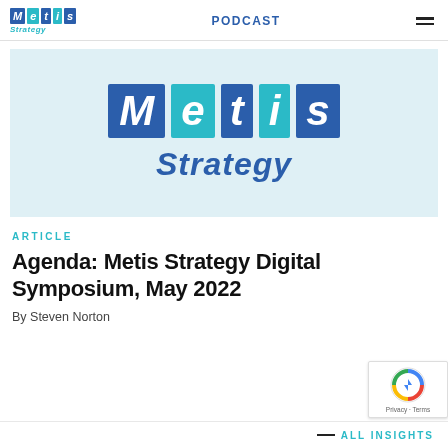Metis Strategy | PODCAST
[Figure (logo): Metis Strategy logo — large blue letter boxes spelling M, e, t, i, s on a light blue background, with 'Strategy' in blue italic below]
ARTICLE
Agenda: Metis Strategy Digital Symposium, May 2022
By Steven Norton